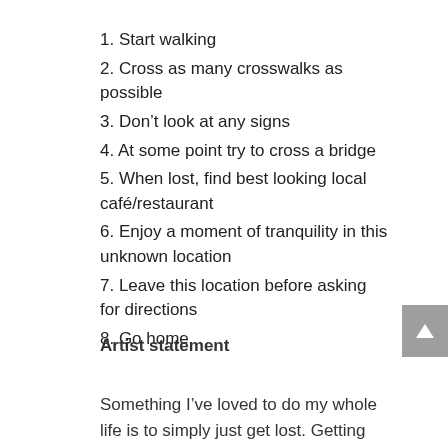1. Start walking
2. Cross as many crosswalks as possible
3. Don’t look at any signs
4. At some point try to cross a bridge
5. When lost, find best looking local café/restaurant
6. Enjoy a moment of tranquility in this unknown location
7. Leave this location before asking for directions
8. Go home
Artist statement
Something I’ve loved to do my whole life is to simply just get lost. Getting lost can lead to amazing